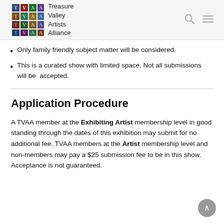Treasure Valley Artists Alliance
Only family friendly subject matter will be considered.
This is a curated show with limited space. Not all submissions will be accepted.
Application Procedure
A TVAA member at the Exhibiting Artist membership level in good standing through the dates of this exhibition may submit for no additional fee. TVAA members at the Artist membership level and non-members may pay a $25 submission fee to be in this show. Acceptance is not guaranteed.